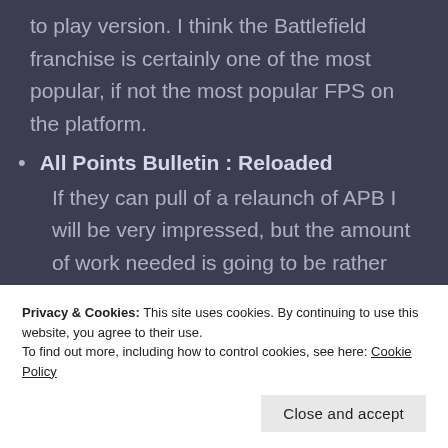to play version. I think the Battlefield franchise is certainly one of the most popular, if not the most popular FPS on the platform.
All Points Bulletin : Reloaded
If they can pull of a relaunch of APB I will be very impressed, but the amount of work needed is going to be rather large I'm afraid. We'll just
Privacy & Cookies: This site uses cookies. By continuing to use this website, you agree to their use.
To find out more, including how to control cookies, see here: Cookie Policy
Close and accept
I'm not a big fan of this deal.